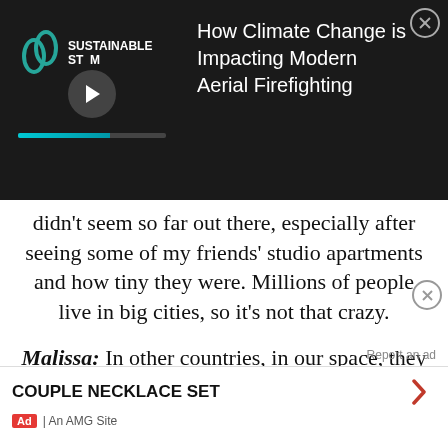[Figure (screenshot): Video ad overlay with dark background showing 'Sustainable Storm' logo/thumbnail on left with play button and progress bar, and article title 'How Climate Change is Impacting Modern Aerial Firefighting' on right in white text. Close button (X) in circle in top-right corner.]
didn't seem so far out there, especially after seeing some of my friends' studio apartments and how tiny they were. Millions of people live in big cities, so it's not that crazy.
Malissa: In other countries, in our space, they sleep 20 people. Knowing that other people are able to live in spaces much smaller than this, it's not shocking for us. We have a friend who recently moved to San Francisco. His apartment was a closet
Report an ad
COUPLE NECKLACE SET
Ad | An AMG Site